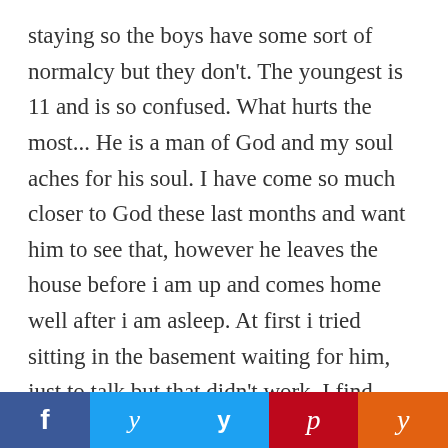staying so the boys have some sort of normalcy but they don't. The youngest is 11 and is so confused. What hurts the most... He is a man of God and my soul aches for his soul. I have come so much closer to God these last months and want him to see that, however he leaves the house before i am up and comes home well after i am asleep. At first i tried sitting in the basement waiting for him, just to talk but that didn't work. I find comfort in talking to God. We have been married 18 years and this is not where I want it to end. I pray the
[Figure (infographic): Social sharing bar with four buttons: Facebook (blue), Twitter (light blue), Pinterest (red), Yummly (orange)]